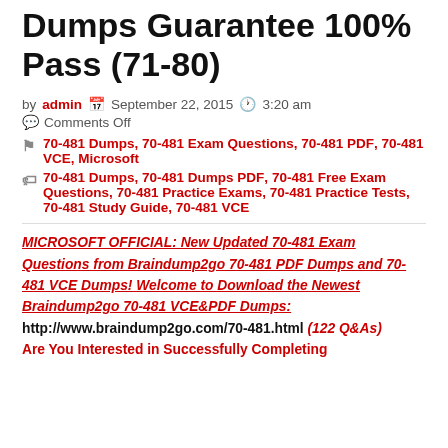Dumps Guarantee 100% Pass (71-80)
by admin  September 22, 2015  3:20 am
Comments Off
70-481 Dumps, 70-481 Exam Questions, 70-481 PDF, 70-481 VCE, Microsoft
70-481 Dumps, 70-481 Dumps PDF, 70-481 Free Exam Questions, 70-481 Practice Exams, 70-481 Practice Tests, 70-481 Study Guide, 70-481 VCE
MICROSOFT OFFICIAL: New Updated 70-481 Exam Questions from Braindump2go 70-481 PDF Dumps and 70-481 VCE Dumps! Welcome to Download the Newest Braindump2go 70-481 VCE&PDF Dumps: http://www.braindump2go.com/70-481.html (122 Q&As) Are You Interested in Successfully Completing